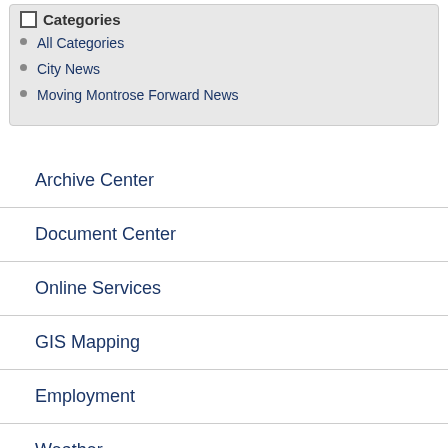Categories
All Categories
City News
Moving Montrose Forward News
Archive Center
Document Center
Online Services
GIS Mapping
Employment
Weather